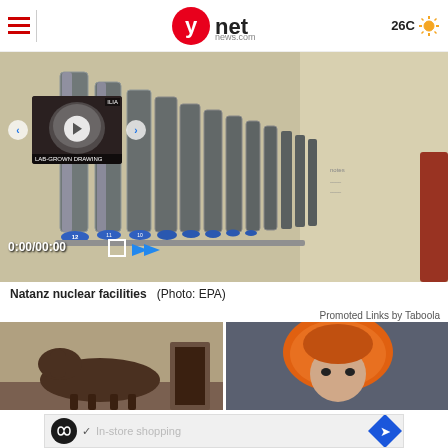ynet news.com — 26C
[Figure (photo): Natanz nuclear facilities — rows of silver centrifuge machines in a facility, with a video player overlay showing a thumbnail and playback controls. Timecode 0:00/00:00 visible.]
Natanz nuclear facilities  (Photo: EPA)
Promoted Links by Taboola
[Figure (photo): Brown horse standing in a stable or barn]
[Figure (photo): Person wearing an orange furry hood/hat]
[Figure (screenshot): Advertisement banner with circular logo (infinity/loops icon), checkmark, text 'In-store shopping', and a blue diamond navigation arrow icon]